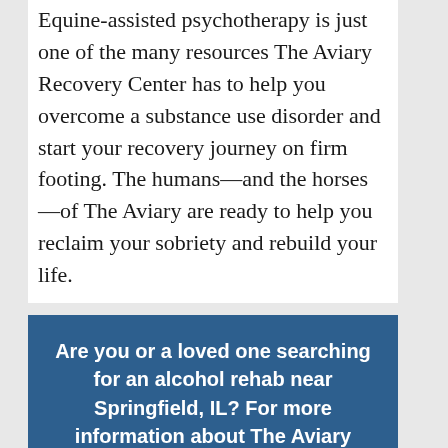Equine-assisted psychotherapy is just one of the many resources The Aviary Recovery Center has to help you overcome a substance use disorder and start your recovery journey on firm footing. The humans—and the horses—of The Aviary are ready to help you reclaim your sobriety and rebuild your life.
Are you or a loved one searching for an alcohol rehab near Springfield, IL? For more information about The Aviary Recovery Center, please contact us anytime at (888) 998-8655. We're here to help.